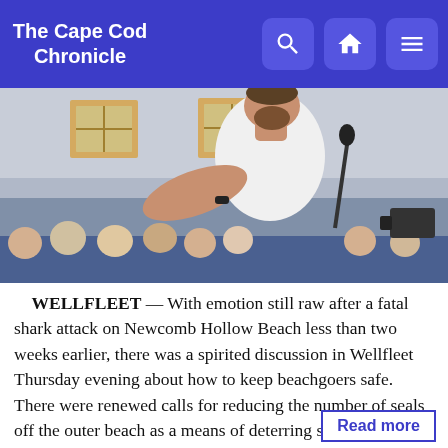The Cape Cod Chronicle
[Figure (photo): A man in a white t-shirt speaking at a microphone at a public meeting, with an audience seated behind him in what appears to be a gymnasium.]
WELLFLEET — With emotion still raw after a fatal shark attack on Newcomb Hollow Beach less than two weeks earlier, there was a spirited discussion in Wellfleet Thursday evening about how to keep beachgoers safe. There were renewed calls for reducing the number of seals off the outer beach as a means of deterring sharks. Most such measures would be prohibited by the federal Marine Mammal Protection Act, and r...
Read more